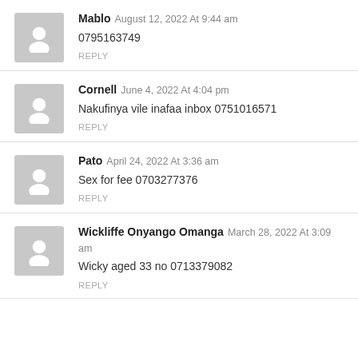Mablo August 12, 2022 At 9:44 am
0795163749
REPLY
Cornell June 4, 2022 At 4:04 pm
Nakufinya vile inafaa inbox 0751016571
REPLY
Pato April 24, 2022 At 3:36 am
Sex for fee 0703277376
REPLY
Wickliffe Onyango Omanga March 28, 2022 At 3:09 am
Wicky aged 33 no 0713379082
REPLY